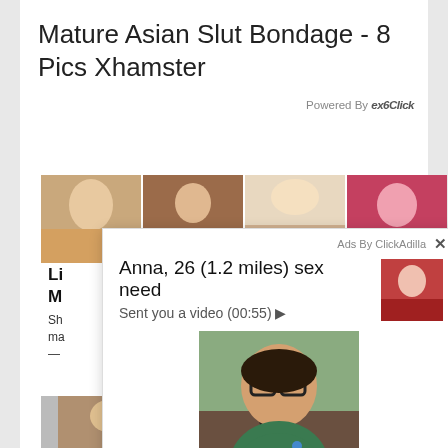Mature Asian Slut Bondage - 8 Pics Xhamster
Powered By exoClick
[Figure (photo): Strip of four thumbnail photos of women]
[Figure (screenshot): Ad overlay popup: Ads By ClickAdilla with close X button. Text: Anna, 26 (1.2 miles) sex need. Sent you a video (00:55) with play button. Thumbnail image on right. Large photo of woman in green shirt in car. Footer: 2md]
Li
M
Sh
ma
—
[Figure (photo): Row of thumbnail photos at bottom of page]